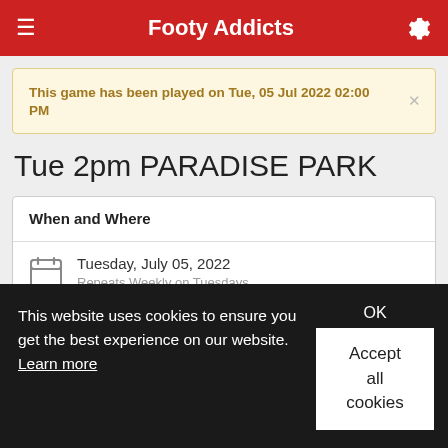Footy Addicts
This game has been played on Tue, 05 Jul 2022 02:00 PM
Tue 2pm PARADISE PARK
When and Where
Tuesday, July 05, 2022
Repeats Weekly on Tuesdays
2:00 PM
This website uses cookies to ensure you get the best experience on our website. Learn more
OK
Accept all cookies